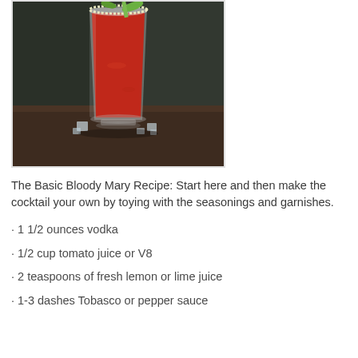[Figure (photo): A tall glass of Bloody Mary cocktail with red tomato juice, garnished with celery and lime, with ice cubes around the base on a dark wooden surface.]
The Basic Bloody Mary Recipe: Start here and then make the cocktail your own by toying with the seasonings and garnishes.
· 1 1/2 ounces vodka
· 1/2 cup tomato juice or V8
· 2 teaspoons of fresh lemon or lime juice
· 1-3 dashes Tobasco or pepper sauce